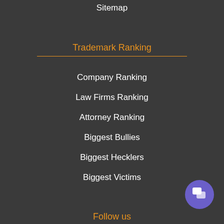Sitemap
Trademark Ranking
Company Ranking
Law Firms Ranking
Attorney Ranking
Biggest Bullies
Biggest Hecklers
Biggest Victims
Follow us